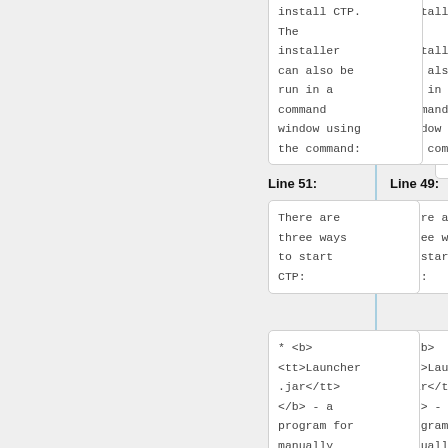install CTP. The installer can also be run in a command window using the command:
install CTP. The installer can also be run in a command window using the command:
Line 49:
Line 51:
There are three ways to start CTP:
There are three ways to start CTP:
* <b><tt>Launcher.jar</tt></b> - a program for manually
* <b><tt>Launcher.jar</tt></b> - a program for manually